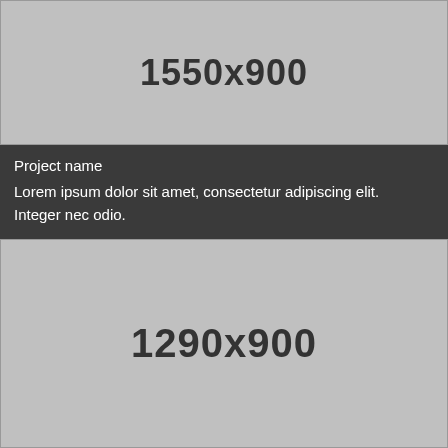[Figure (other): Gray placeholder image with dimensions label '1550x900']
Project name
Lorem ipsum dolor sit amet, consectetur adipiscing elit. Integer nec odio.
[Figure (other): Gray placeholder image with dimensions label '1290x900']